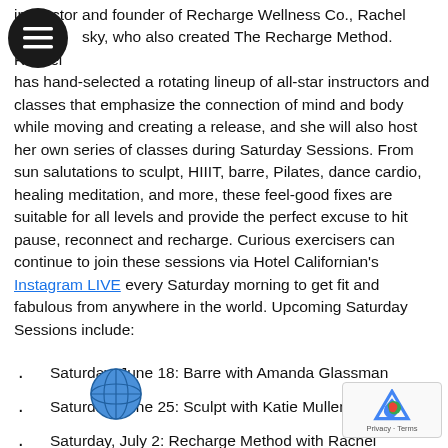instructor and founder of Recharge Wellness Co., Rachel sky, who also created The Recharge Method. Rachel has hand-selected a rotating lineup of all-star instructors and classes that emphasize the connection of mind and body while moving and creating a release, and she will also host her own series of classes during Saturday Sessions. From sun salutations to sculpt, HIIIT, barre, Pilates, dance cardio, healing meditation, and more, these feel-good fixes are suitable for all levels and provide the perfect excuse to hit pause, reconnect and recharge. Curious exercisers can continue to join these sessions via Hotel Californian's Instagram LIVE every Saturday morning to get fit and fabulous from anywhere in the world. Upcoming Saturday Sessions include:
Saturday, June 18: Barre with Amanda Glassman
Saturday, June 25: Sculpt with Katie Mullen
Saturday, July 2: Recharge Method with Rachel